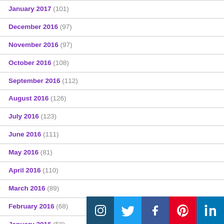January 2017 (101)
December 2016 (97)
November 2016 (97)
October 2016 (108)
September 2016 (112)
August 2016 (126)
July 2016 (123)
June 2016 (111)
May 2016 (81)
April 2016 (110)
March 2016 (89)
February 2016 (68)
January 2016 (58)
[Figure (infographic): Social media icon bar with Instagram, Twitter, Facebook, Pinterest, LinkedIn icons]